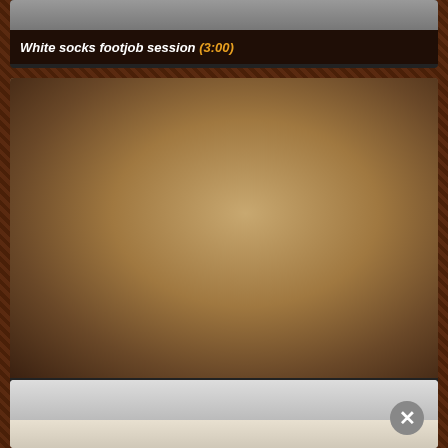[Figure (photo): Video thumbnail card with dark background showing title bar for 'White socks footjob session (3:00)']
White socks footjob session (3:00)
[Figure (photo): Photo of two women embracing in lingerie standing in front of a wicker sofa in an indoor setting with plants]
Horny hot friends fuck each others pussies with t...
[Figure (photo): Partially visible thumbnail card at the bottom of the page, light grey background]